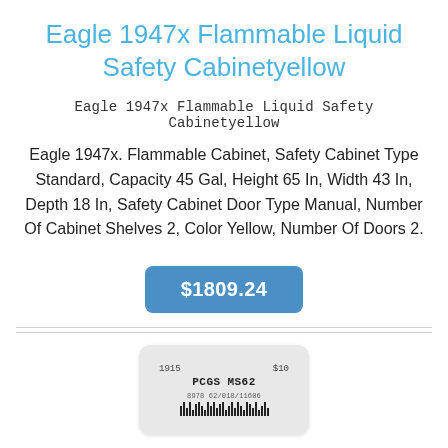Eagle 1947x Flammable Liquid Safety Cabinetyellow
Eagle 1947x Flammable Liquid Safety Cabinetyellow
Eagle 1947x. Flammable Cabinet, Safety Cabinet Type Standard, Capacity 45 Gal, Height 65 In, Width 43 In, Depth 18 In, Safety Cabinet Door Type Manual, Number Of Cabinet Shelves 2, Color Yellow, Number Of Doors 2.
$1809.24
[Figure (photo): A graded coin slab with PCGS MS62 label, showing 1915 $10 coin, with barcode at bottom.]